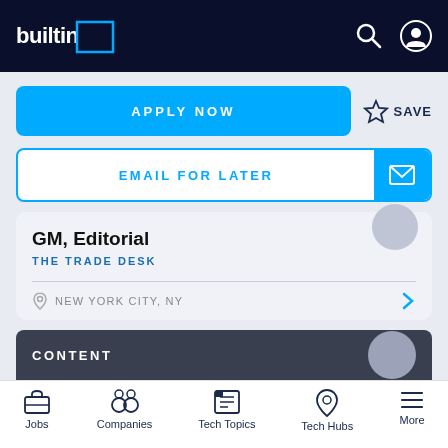builtin
APPLY NOW
SAVE
EMAIL FOR LATER
GM, Editorial
THE TRADE DESK
NEW YORK CITY, NY
CONTENT
Jobs  Companies  Tech Topics  Tech Hubs  More